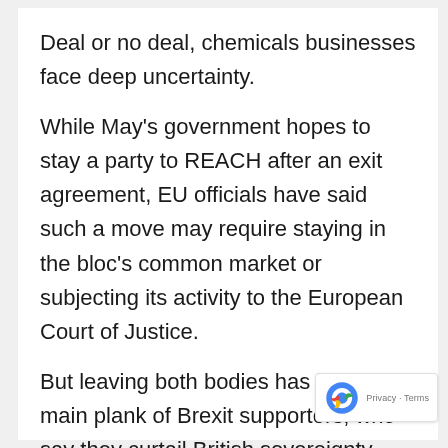Deal or no deal, chemicals businesses face deep uncertainty.
While May's government hopes to stay a party to REACH after an exit agreement, EU officials have said such a move may require staying in the bloc's common market or subjecting its activity to the European Court of Justice.
But leaving both bodies has been a main plank of Brexit supporters, who say they curtail British sovereignty.